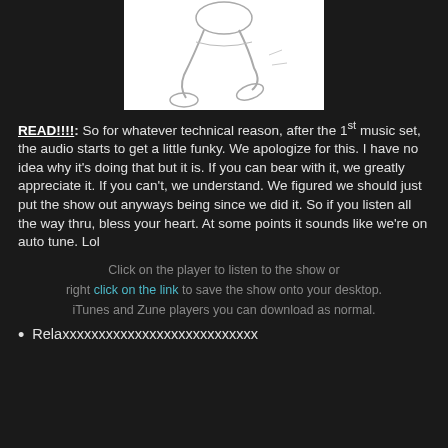[Figure (illustration): Sketch/illustration of a person's lower body in motion, on white background]
READ!!!!: So for whatever technical reason, after the 1st music set, the audio starts to get a little funky. We apologize for this. I have no idea why it's doing that but it is. If you can bear with it, we greatly appreciate it. If you can't, we understand. We figured we should just put the show out anyways being since we did it. So if you listen all the way thru, bless your heart. At some points it sounds like we're on auto tune. Lol
Click on the player to listen to the show or right click on the link to save the show onto your desktop. iTunes and Zune players you can download as normal.
Relaxxxxxxxxxxxxxxxxxxxxxxxxxxx